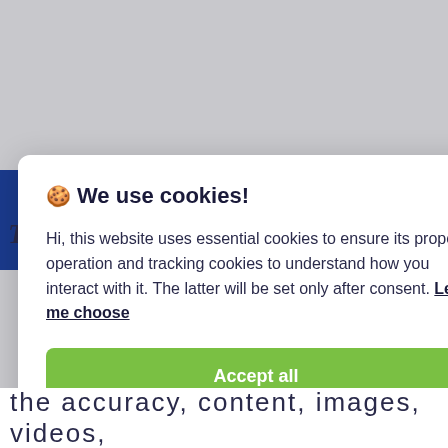[Figure (screenshot): Cookie consent modal dialog overlay on a webpage. The modal has a white rounded card with title '🍪 We use cookies!', descriptive text about essential and tracking cookies with a 'Let me choose' underlined link, a green 'Accept all' button, and a light grey 'Reject all' button. Behind the modal, partial webpage content is visible including a blue sidebar element and bottom text reading 'the accuracy, content, images, videos,']
🍪 We use cookies!
Hi, this website uses essential cookies to ensure its proper operation and tracking cookies to understand how you interact with it. The latter will be set only after consent. Let me choose
Accept all
Reject all
the accuracy, content, images, videos,